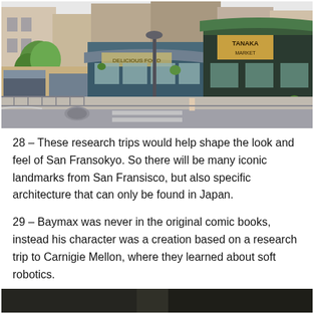[Figure (illustration): Illustrated/drawn scene of a city street corner blending San Francisco and Tokyo architecture. Colorful storefronts, trees, a bench, sidewalk, and street crossing visible. Style is hand-drawn/anime concept art.]
28 –  These research trips would help shape the look and feel of San Fransokyo.  So there will be many iconic landmarks from San Fransisco, but also specific architecture that can only be found in Japan.
29 – Baymax was never in the original comic books, instead his character was a creation based on a research trip to Carnigie Mellon, where they learned about soft robotics.
[Figure (photo): Partial photo visible at bottom of page, appears to be a dark/dimly lit scene, content not fully visible.]